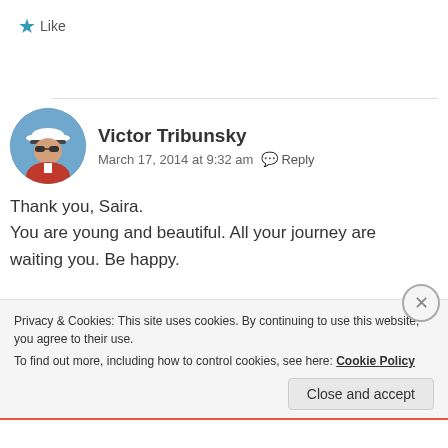★ Like
Victor Tribunsky
March 17, 2014 at 9:32 am  Reply
Thank you, Saira.
You are young and beautiful. All your journey are waiting you. Be happy.
Privacy & Cookies: This site uses cookies. By continuing to use this website, you agree to their use.
To find out more, including how to control cookies, see here: Cookie Policy
Close and accept